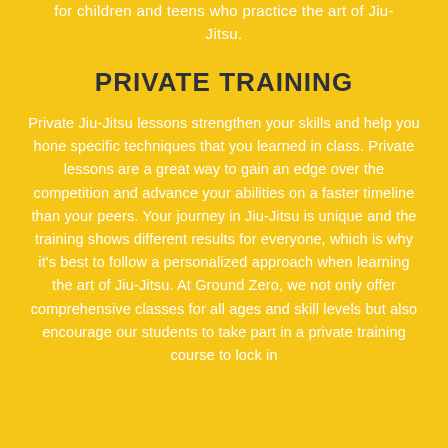for children and teens who practice the art of Jiu-Jitsu.
PRIVATE TRAINING
Private Jiu-Jitsu lessons strengthen your skills and help you hone specific techniques that you learned in class. Private lessons are a great way to gain an edge over the competition and advance your abilities on a faster timeline than your peers. Your journey in Jiu-Jitsu is unique and the training shows different results for everyone, which is why it's best to follow a personalized approach when learning the art of Jiu-Jitsu. At Ground Zero, we not only offer comprehensive classes for all ages and skill levels but also encourage our students to take part in a private training course to lock in